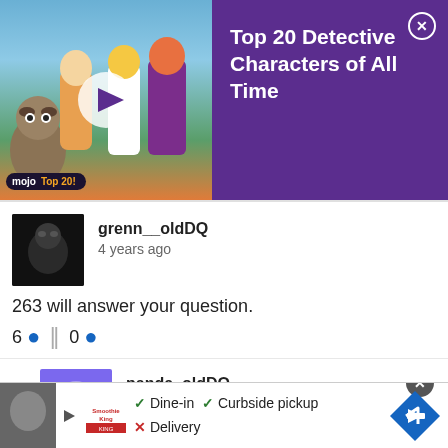[Figure (screenshot): Ad banner for 'Top 20 Detective Characters of All Time' video with Scooby-Doo characters, mojo Top 20 branding, purple background, close button]
grenn__oldDQ
4 years ago
263 will answer your question.
6 ↑ ‖ 0 ↓
panda__oldDQ
4 years ago
Thank you so much for your efforts, Grenn-sama
0 ↑ ‖ 0 ↓
[Figure (screenshot): Bottom ad banner: Smoothie King logo, Dine-in checkmark, Curbside pickup checkmark, Delivery X, navigation arrow diamond icon, close button]